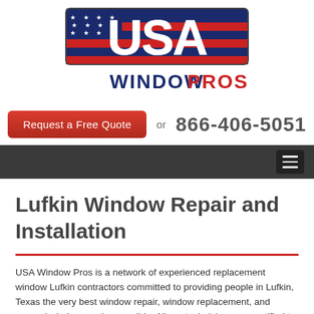[Figure (logo): USA Window Pros logo with American flag-styled 'USA' lettering in red, white, blue and stars, with 'WINDOW PROS' in dark blue and red bold text below]
Request a Free Quote  or  866-406-5051
[Figure (other): Dark navigation bar with hamburger menu icon on the right]
Lufkin Window Repair and Installation
USA Window Pros is a network of experienced replacement window Lufkin contractors committed to providing people in Lufkin, Texas the very best window repair, window replacement, and general window service possible. All our technicians are certified to complete work on styles ranging from single hung windows to bow windows and already have the wisdom to aid you to